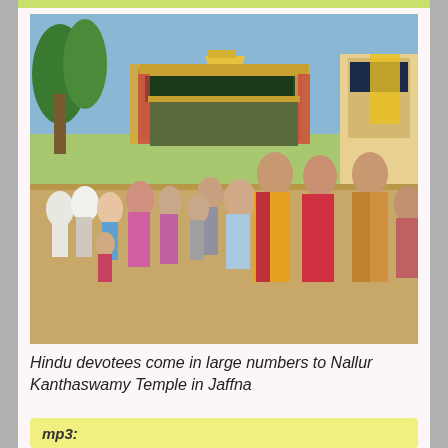[Figure (photo): A crowd of Hindu devotees walking toward and away from the Nallur Kanthaswamy Temple in Jaffna. Several women are wearing colorful saris (orange, red, magenta, gold) and men are in casual clothes. The temple entrance with a decorated arch is visible in the background with palm trees and stalls on either side.]
Hindu devotees come in large numbers to Nallur Kanthaswamy Temple in Jaffna
mp3: